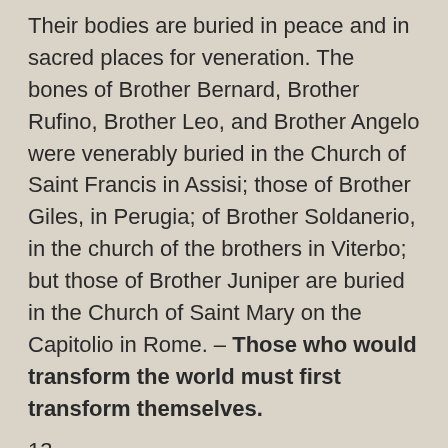Their bodies are buried in peace and in sacred places for veneration. The bones of Brother Bernard, Brother Rufino, Brother Leo, and Brother Angelo were venerably buried in the Church of Saint Francis in Assisi; those of Brother Giles, in Perugia; of Brother Soldanerio, in the church of the brothers in Viterbo; but those of Brother Juniper are buried in the Church of Saint Mary on the Capitolio in Rome. – Those who would transform the world must first transform themselves.
13
Brother Soldanerio, like the sun giving light to the world, shed light by his behavior and learning. Brother Juniper shone with such a gift of patience that no one ever saw him disturbed even when he was enduring many difficulties. – We are like God when we forgive.
14